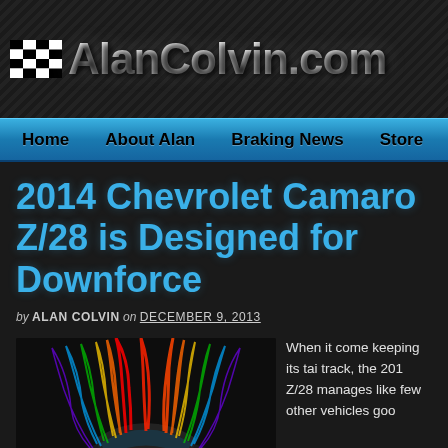AlanColvin.com
Home | About Alan | Braking News | Store | Servi
2014 Chevrolet Camaro Z/28 is Designed for Downforce
by ALAN COLVIN on DECEMBER 9, 2013
[Figure (photo): 2014 Chevrolet Camaro Z/28 with colorful airflow simulation visualization (CFD) showing downforce patterns over the hood and body, viewed from front-three-quarter angle in a dark setting]
When it come keeping its tai track, the 201 Z/28 manages like few other vehicles goo